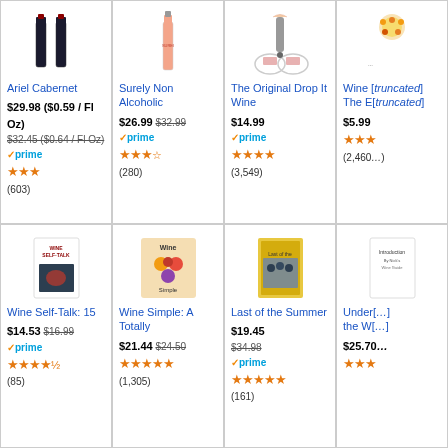[Figure (screenshot): Amazon product grid showing wine-related products in two rows of four columns each]
Ariel Cabernet
$29.98 ($0.59 / Fl Oz) $32.45 ($0.64 / Fl Oz) prime (603)
Surely Non Alcoholic
$26.99 $32.99 prime (280)
The Original Drop It Wine
$14.99 prime (3,549)
Wine [truncated] The E[truncated]
$5.99 (2,460[truncated])
Wine Self-Talk: 15
$14.53 $16.99 prime (85)
Wine Simple: A Totally
$21.44 $24.50 (1,305)
Last of the Summer
$19.45 $34.98 prime (161)
Under[truncated] the W[truncated]
$25.70[truncated]